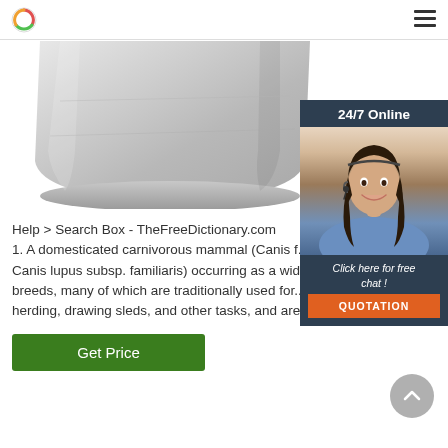[Figure (screenshot): Website header with circular logo (red/teal/yellow) on the left and hamburger menu icon on the right, on a white background with a thin bottom border.]
[Figure (photo): Bottom portion of a large stainless steel cooking pot or industrial vessel against a white background.]
[Figure (infographic): 24/7 Online customer service chat widget showing a smiling woman with a headset, a 'Click here for free chat !' message, and an orange QUOTATION button.]
Help > Search Box - TheFreeDictionary.com
1. A domesticated carnivorous mammal (Canis f... Canis lupus subsp. familiaris) occurring as a wid... breeds, many of which are traditionally used for... herding, drawing sleds, and other tasks, and are...
[Figure (other): Green 'Get Price' button]
[Figure (other): Grey circular scroll-to-top arrow button]